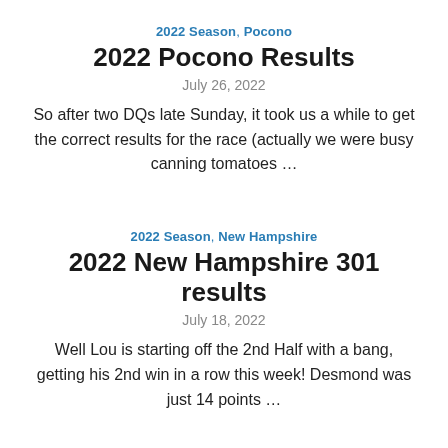2022 Season, Pocono
2022 Pocono Results
July 26, 2022
So after two DQs late Sunday, it took us a while to get the correct results for the race (actually we were busy canning tomatoes …
2022 Season, New Hampshire
2022 New Hampshire 301 results
July 18, 2022
Well Lou is starting off the 2nd Half with a bang, getting his 2nd win in a row this week! Desmond was just 14 points …